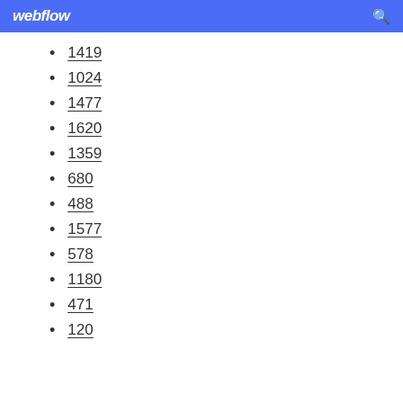webflow
1419
1024
1477
1620
1359
680
488
1577
578
1180
471
120